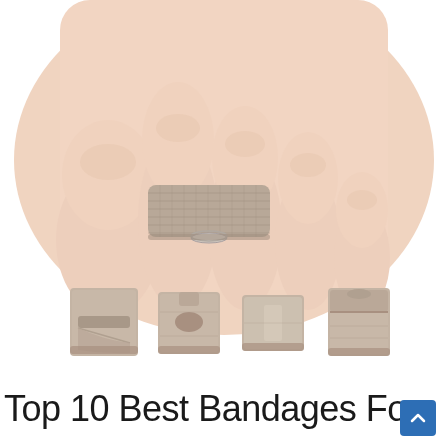[Figure (photo): Top half shows a close-up photo of a human foot with a fabric/knit toe bandage splint wrapping the second and third toes together on a white background. Bottom half shows four individual toe bandage/splint devices laid flat on white background, each a rectangular beige/tan fabric strip with a loop or clip mechanism, shown in slightly different sizes and configurations.]
Top 10 Best Bandages For